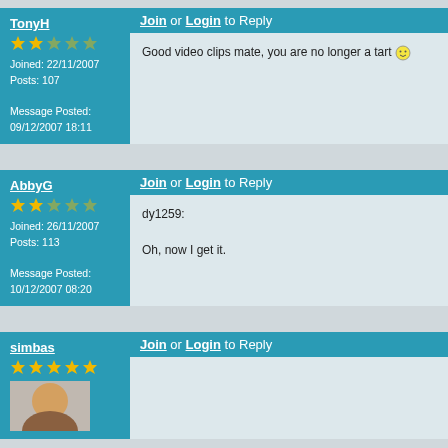Join or Login to Reply
TonyH
Joined: 22/11/2007
Posts: 107

Message Posted:
09/12/2007 18:11
Good video clips mate, you are no longer a tart 🙂
Join or Login to Reply
AbbyG
Joined: 26/11/2007
Posts: 113

Message Posted:
10/12/2007 08:20
dy1259:

Oh, now I get it.
Join or Login to Reply
simbas